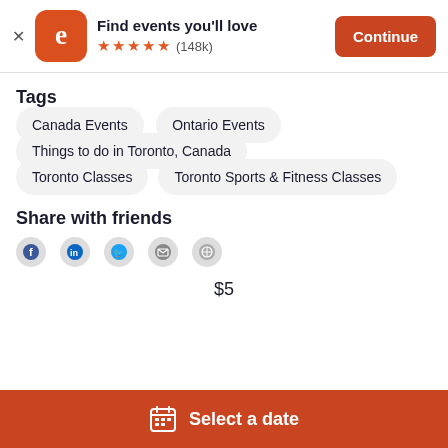[Figure (screenshot): Eventbrite app banner with orange logo, star rating (148k reviews), and Continue button]
Tags
Canada Events
Ontario Events
Things to do in Toronto, Canada
Toronto Classes
Toronto Sports & Fitness Classes
Share with friends
[Figure (infographic): Social share icons: Facebook, LinkedIn, Twitter, Email, Link]
$5
Select a date